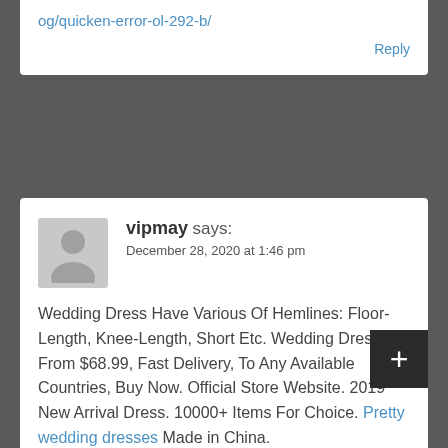og/quicken-error-ol-292-b/
Reply
vipmay says:
December 28, 2020 at 1:46 pm
Wedding Dress Have Various Of Hemlines: Floor-Length, Knee-Length, Short Etc. Wedding Dresses From $68.99, Fast Delivery, To Any Available Countries, Buy Now. Official Store Website. 2019 New Arrival Dress. 10000+ Items For Choice. Pretty wedding dresses Made in China.
Reply